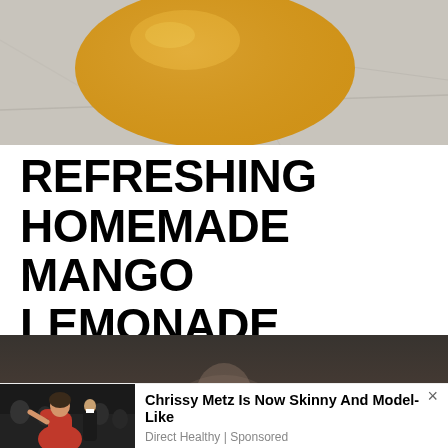[Figure (photo): Close-up photo of a yellow-orange mango drink or smoothie in a glass on a marble surface, viewed from above]
REFRESHING HOMEMADE MANGO LEMONADE
[Figure (screenshot): Video player with dark background showing 'No compatible source was found for this media.' message, with blurred face visible in background]
[Figure (photo): Advertisement photo showing Chrissy Metz in red dress at event with crowd in background]
Chrissy Metz Is Now Skinny And Model-Like
Direct Healthy | Sponsored